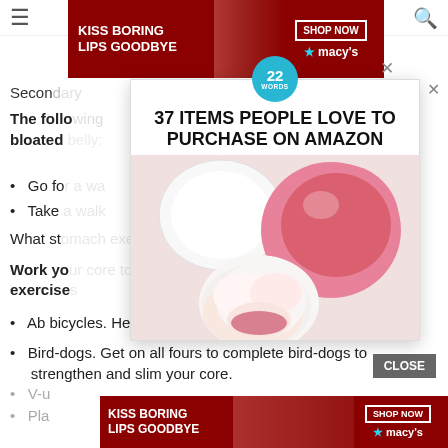[Figure (screenshot): Macy's advertisement banner at top: 'KISS BORING LIPS GOODBYE' with SHOP NOW button and Macy's logo]
Secondary
The following foods can cause a bloated
Go fo
Take
What sto
Work yo t easy exercise
[Figure (screenshot): 22 Words popup overlay: '37 ITEMS PEOPLE LOVE TO PURCHASE ON AMAZON' with image of pink beauty blender and fluffy makeup brush]
Ab bicycles. Heres a great flat stomach workout!
Bird-dogs. Get on all fours to complete bird-dogs to strengthen and slim your core.
V-u
Pla
[Figure (screenshot): Macy's advertisement banner at bottom: 'KISS BORING LIPS GOODBYE' with SHOP NOW button and Macy's logo]